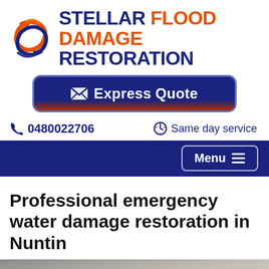[Figure (logo): Stellar Flood Damage Restoration logo with swirl icon in red, orange, and blue, and bold company name in dark blue and orange]
Express Quote
0480022706    Same day service
Menu
Professional emergency water damage restoration in Nuntin
[Figure (photo): Partial photo of water damage scene at bottom of page]